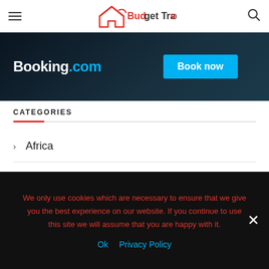Budget Traveller
[Figure (screenshot): Booking.com advertisement banner with dark background, Booking.com logo on left and 'Book now' cyan button on right]
CATEGORIES
Africa
Air Travel
America
We only use cookies which are necessary to ensure that we give you the best experience on our website. If you continue to use this site we will assume that you are happy with it. Ok  Privacy Policy